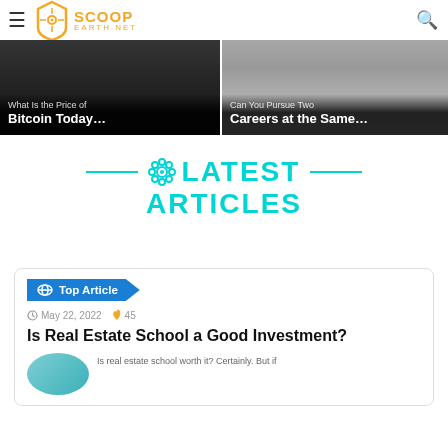[Figure (screenshot): ScoopEarth.net website header with logo, hamburger menu, and search icon]
[Figure (photo): Left article card: dark image with title 'What Is the Price of Bitcoin Today...']
[Figure (photo): Right article card: blurred background image with title 'Can You Pursue Two Careers at the Same...']
LATEST ARTICLES
Top Article
May 22, 2022  45
Is Real Estate School a Good Investment?
Is real estate school worth it? Certainly. But if